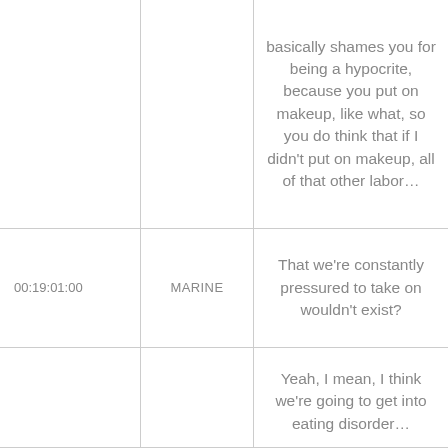| Timecode | Speaker | Text |
| --- | --- | --- |
|  |  | basically shames you for being a hypocrite, because you put on makeup, like what, so you do think that if I didn't put on makeup, all of that other labor… |
| 00:19:01:00 | MARINE | That we're constantly pressured to take on wouldn't exist? |
|  |  | Yeah, I mean, I think we're going to get into eating disorder… |